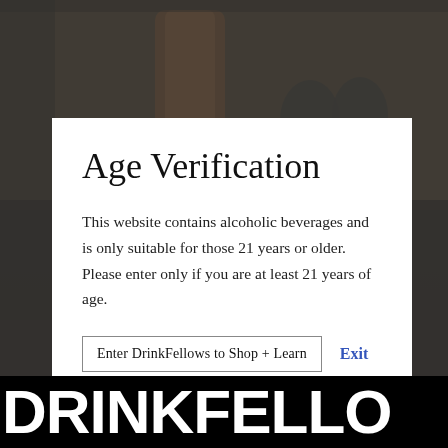[Figure (photo): Dark background photo showing two men looking at a copper distillery still, with dark overlay and the DrinkFellows website visible behind the modal]
Age Verification
This website contains alcoholic beverages and is only suitable for those 21 years or older. Please enter only if you are at least 21 years of age.
Enter DrinkFellows to Shop + Learn
Exit
the Bas Armagnac region. Francis and Lydie
footsteps of the previous five generations by
DRINKFELLO